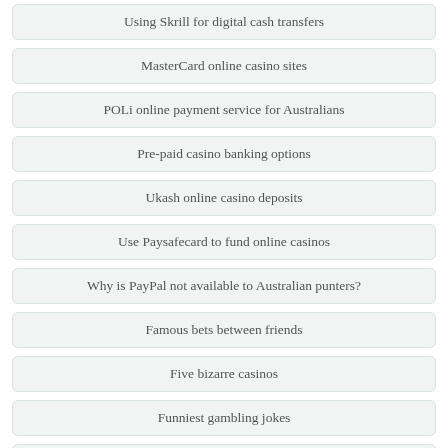Using Skrill for digital cash transfers
MasterCard online casino sites
POLi online payment service for Australians
Pre-paid casino banking options
Ukash online casino deposits
Use Paysafecard to fund online casinos
Why is PayPal not available to Australian punters?
Famous bets between friends
Five bizarre casinos
Funniest gambling jokes
Game software at online casinos